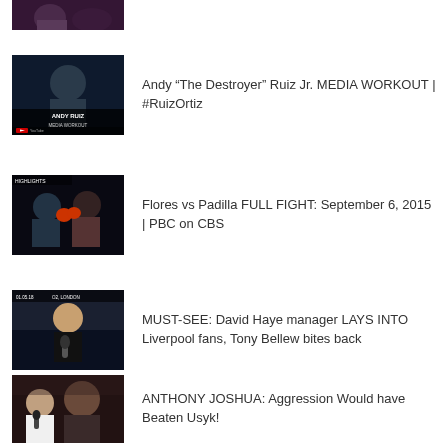[Figure (photo): Partial thumbnail of a boxing/sports figure at top of page (cropped)]
[Figure (photo): Andy Ruiz media workout thumbnail with text ANDY RUIZ MEDIA WORKOUT]
Andy “The Destroyer” Ruiz Jr. MEDIA WORKOUT | #RuizOrtiz
[Figure (photo): Boxing match highlights thumbnail - Flores vs Padilla fight]
Flores vs Padilla FULL FIGHT: September 6, 2015 | PBC on CBS
[Figure (photo): David Haye manager press conference thumbnail with date 01.05.18, O2, London]
MUST-SEE: David Haye manager LAYS INTO Liverpool fans, Tony Bellew bites back
[Figure (photo): Anthony Joshua post-fight interview thumbnail]
ANTHONY JOSHUA: Aggression Would have Beaten Usyk!